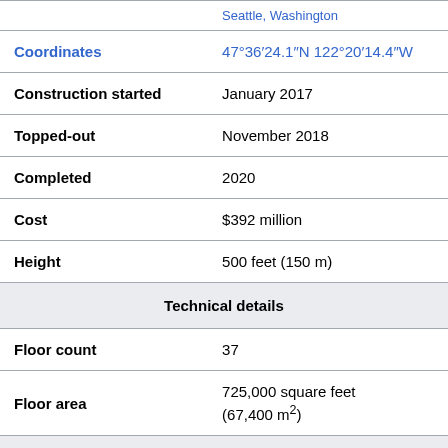| Field | Value |
| --- | --- |
| Coordinates | 47°36′24.1″N 122°20′14.4″W |
| Construction started | January 2017 |
| Topped-out | November 2018 |
| Completed | 2020 |
| Cost | $392 million |
| Height | 500 feet (150 m) |
| Technical details |  |
| Floor count | 37 |
| Floor area | 725,000 square feet (67,400 m²) |
| Design and construction |  |
| Architecture firm | Pickard Chilton |